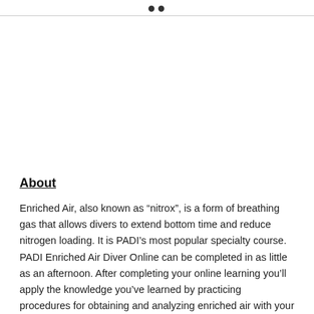About
Enriched Air, also known as “nitrox”, is a form of breathing gas that allows divers to extend bottom time and reduce nitrogen loading. It is PADI’s most popular specialty course. PADI Enriched Air Diver Online can be completed in as little as an afternoon. After completing your online learning you’ll apply the knowledge you’ve learned by practicing procedures for obtaining and analyzing enriched air with your PADI Instructor. You also have the option of completing two open water enriched air dives. This certification counts towards